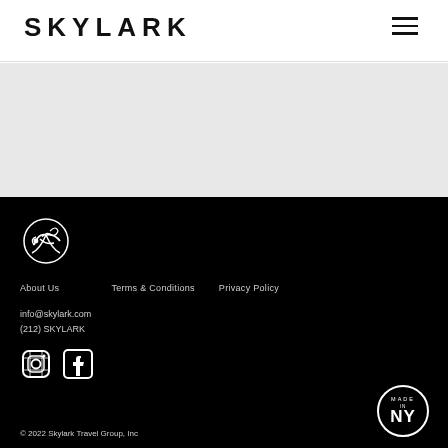SKYLARK
[Figure (logo): Skylark bird logo in white on black footer]
About Us    Terms & Conditions    Privacy Policy
info@skylark.com
(212) SKYLARK
[Figure (illustration): Instagram and Facebook social media icons in white]
© 2022 Skylark Travel Group, Inc
[Figure (logo): Made in NY circular badge]